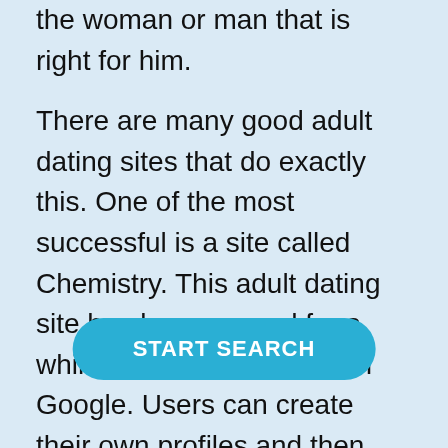the woman or man that is right for him.
There are many good adult dating sites that do exactly this. One of the most successful is a site called Chemistry. This adult dating site has been around for a while, and it is a top site on Google. Users can create their own profiles and then look for matches within their own community. If someone already has a profile on Chemistry, then he can easily search for others who are seeking partners.
Chemistry does not take too long to set up. You will ne[...] fee to become a member, and this will give you
[Figure (other): A teal/blue rounded button with white bold text reading 'START SEARCH']